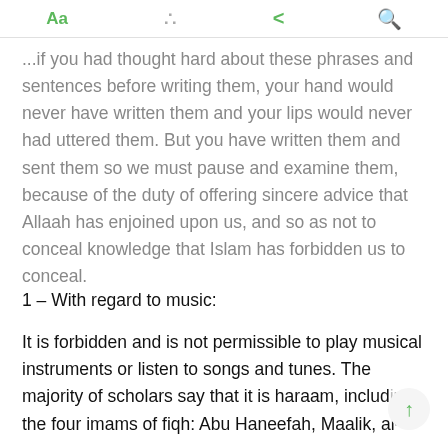Aa [bookmark] [share] [search]
...if you had thought hard about these phrases and sentences before writing them, your hand would never have written them and your lips would never had uttered them. But you have written them and sent them so we must pause and examine them, because of the duty of offering sincere advice that Allaah has enjoined upon us, and so as not to conceal knowledge that Islam has forbidden us to conceal.
1 – With regard to music:
It is forbidden and is not permissible to play musical instruments or listen to songs and tunes. The majority of scholars say that it is haraam, including the four imams of fiqh: Abu Haneefah, Maalik, al-